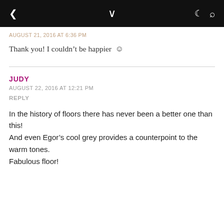< ∨ ☽ 🔍
AUGUST 21, 2016 AT 6:36 PM
Thank you! I couldn't be happier 🙂
JUDY
AUGUST 22, 2016 AT 12:21 PM
REPLY
In the history of floors there has never been a better one than this!
And even Egor's cool grey provides a counterpoint to the warm tones.
Fabulous floor!